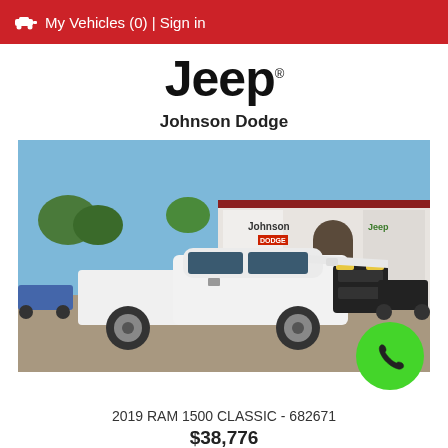🚗 My Vehicles (0) | Sign in
Jeep
Johnson Dodge
[Figure (photo): White 2019 RAM 1500 Classic pickup truck parked in front of a Johnson Dodge Jeep dealership building under a blue sky. A green phone button overlay appears in the bottom-right corner.]
2019 RAM 1500 CLASSIC - 682671
$38,776